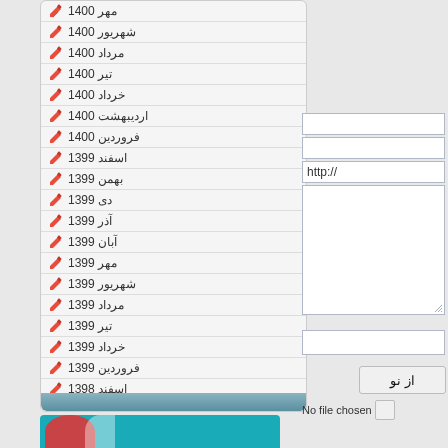مهر 1400
شهریور 1400
مرداد 1400
تیر 1400
خرداد 1400
اردیبهشت 1400
فروردین 1400
اسفند 1399
بهمن 1399
دی 1399
آذر 1399
آبان 1399
مهر 1399
شهریور 1399
مرداد 1399
تیر 1399
خرداد 1399
فروردین 1399
اسفند 1398
آبان 1398
شهریور 1398
[Figure (screenshot): Form fields on right side: two blank input fields, a URL field with http://, a textarea, a text input, an upload button labeled 'از نو', and a 'No file chosen' file input.]
[Figure (photo): Bottom image strip with teal background showing partial image content.]